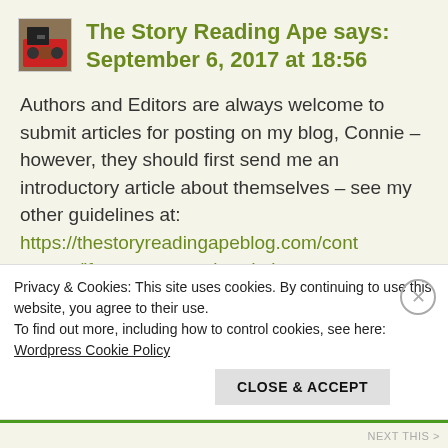The Story Reading Ape says: September 6, 2017 at 18:56
Authors and Editors are always welcome to submit articles for posting on my blog, Connie – however, they should first send me an introductory article about themselves – see my other guidelines at: https://thestoryreadingapeblog.com/contact-me/if-you-are-not-already-in-my-
Privacy & Cookies: This site uses cookies. By continuing to use this website, you agree to their use.
To find out more, including how to control cookies, see here:
Wordpress Cookie Policy
CLOSE & ACCEPT